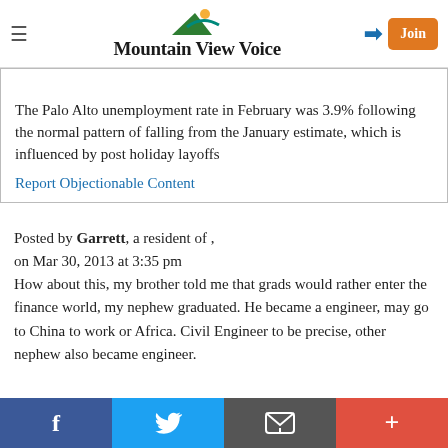Mountain View Voice
The Palo Alto unemployment rate in February was 3.9% following the normal pattern of falling from the January estimate, which is influenced by post holiday layoffs
Report Objectionable Content
Posted by Garrett, a resident of , on Mar 30, 2013 at 3:35 pm How about this, my brother told me that grads would rather enter the finance world, my nephew graduated. He became a engineer, may go to China to work or Africa. Civil Engineer to be precise, other nephew also became engineer.
f  Twitter  Email  +